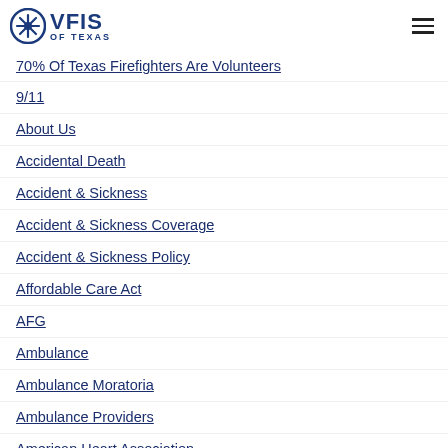VFIS OF TEXAS
70% Of Texas Firefighters Are Volunteers
9/11
About Us
Accidental Death
Accident & Sickness
Accident & Sickness Coverage
Accident & Sickness Policy
Affordable Care Act
AFG
Ambulance
Ambulance Moratoria
Ambulance Providers
American Heart Association
Art Of Reading Smoke
A&S Policy
Assistance To Firefighters Grant Program (AFGP)
Atv/utv